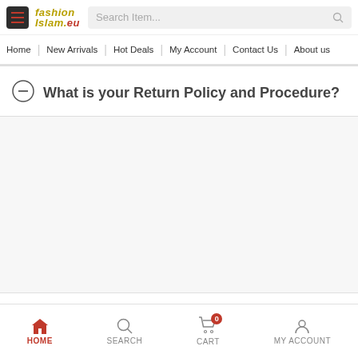fashion islam.eu — Search Item... | Home | New Arrivals | Hot Deals | My Account | Contact Us | About us
What is your Return Policy and Procedure?
HOME | SEARCH | CART 0 | MY ACCOUNT